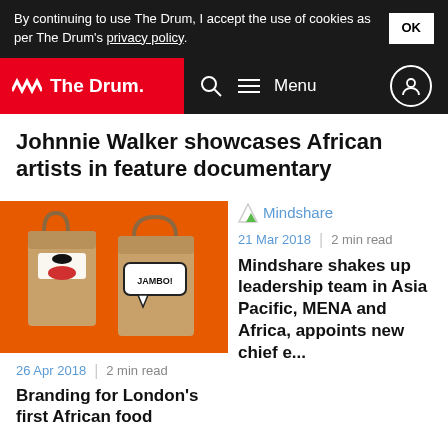By continuing to use The Drum, I accept the use of cookies as per The Drum's privacy policy. OK
The Drum | Menu
Johnnie Walker showcases African artists in feature documentary
[Figure (photo): Two brown paper shopping bags on an orange background. One bag has a face with red lips graphic and 'Jambo!' text, the other has a 'JAMBO!' speech bubble graphic.]
26 Apr 2018 | 2 min read
Branding for London's first African food
[Figure (logo): Mindshare logo]
21 Mar 2018 | 2 min read
Mindshare shakes up leadership team in Asia Pacific, MENA and Africa, appoints new chief e...